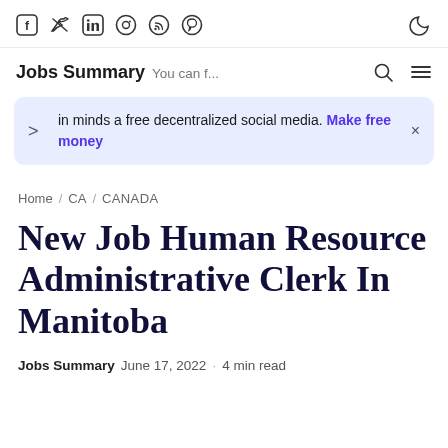Social media icons: Facebook, Twitter, LinkedIn, Instagram, RSS, Pinterest; dark mode toggle
Jobs Summary You can f... [search icon] [menu icon]
join minds a free decentralized social media. Make free money
Home / CA / CANADA
New Job Human Resource Administrative Clerk In Manitoba
Jobs Summary  June 17, 2022  · 4 min read